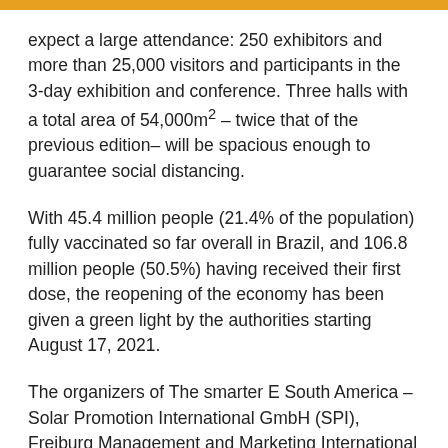expect a large attendance: 250 exhibitors and more than 25,000 visitors and participants in the 3-day exhibition and conference. Three halls with a total area of 54,000m² – twice that of the previous edition– will be spacious enough to guarantee social distancing.
With 45.4 million people (21.4% of the population) fully vaccinated so far overall in Brazil, and 106.8 million people (50.5%) having received their first dose, the reopening of the economy has been given a green light by the authorities starting August 17, 2021.
The organizers of The smarter E South America – Solar Promotion International GmbH (SPI), Freiburg Management and Marketing International GmbH (FMMI) and Aranda Eventos & Congressos Ltda. (ARANDA) – are confident to have a successful and